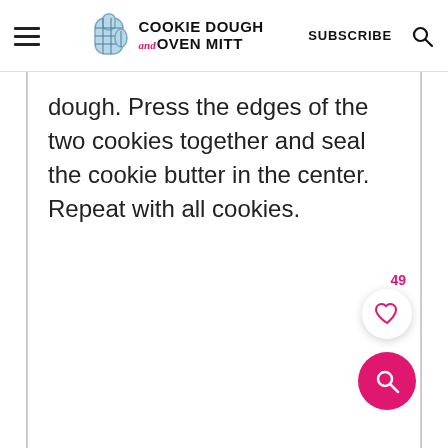Cookie Dough and Oven Mitt — SUBSCRIBE
dough. Press the edges of the two cookies together and seal the cookie butter in the center. Repeat with all cookies.